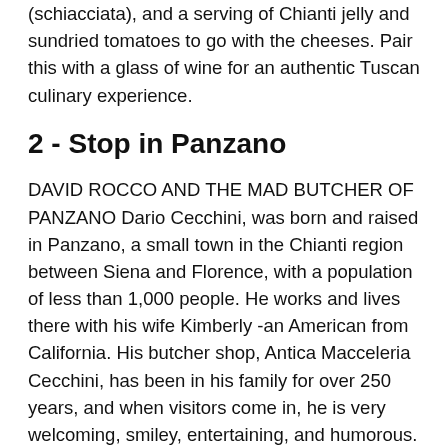(schiacciata), and a serving of Chianti jelly and sundried tomatoes to go with the cheeses. Pair this with a glass of wine for an authentic Tuscan culinary experience.
2 - Stop in Panzano
DAVID ROCCO AND THE MAD BUTCHER OF PANZANO Dario Cecchini, was born and raised in Panzano, a small town in the Chianti region between Siena and Florence, with a population of less than 1,000 people. He works and lives there with his wife Kimberly -an American from California. His butcher shop, Antica Macceleria Cecchini, has been in his family for over 250 years, and when visitors come in, he is very welcoming, smiley, entertaining, and humorous. You can really see how passionate and proud he is about his craft as soon as he begins to talk about his meat and specialties. People refer to him as “The Mad Butcher” because he is so passionate that some people think he’s lost his